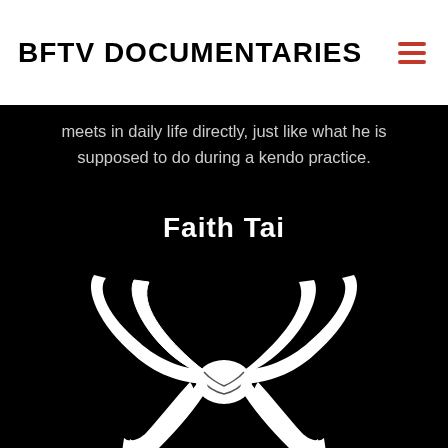BFTV DOCUMENTARIES
meets in daily life directly, just like what he is supposed to do during a kendo practice.
Faith Tai
[Figure (illustration): White martial arts / kendo belt tied in a knot, shown against black background, with two ends hanging down]